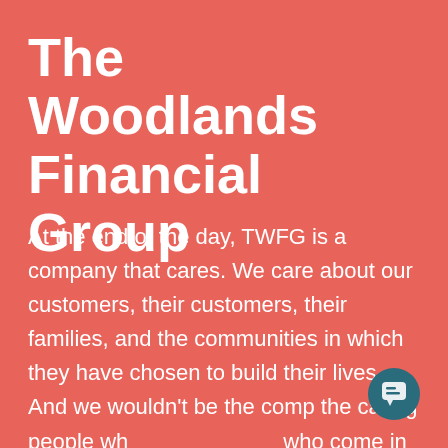The Woodlands Financial Group
At the end of the day, TWFG is a company that cares. We care about our customers, their customers, their families, and the communities in which they have chosen to build their lives. And we wouldn't be the comp the caring people who who come in every day with the hope – the goal – of making a real difference in the lives of the people we protect.
[Figure (other): Chat popup overlay with close button (×) and message text 'Have any questions? I'm happy to help.' and a teal circular chat icon in the bottom right corner.]